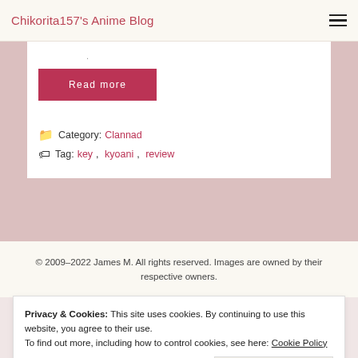Chikorita157's Anime Blog
.
Read more
Category: Clannad
Tag: key, kyoani, review
© 2009–2022 James M. All rights reserved. Images are owned by their respective owners.
Privacy & Cookies: This site uses cookies. By continuing to use this website, you agree to their use.
To find out more, including how to control cookies, see here: Cookie Policy
Close and accept